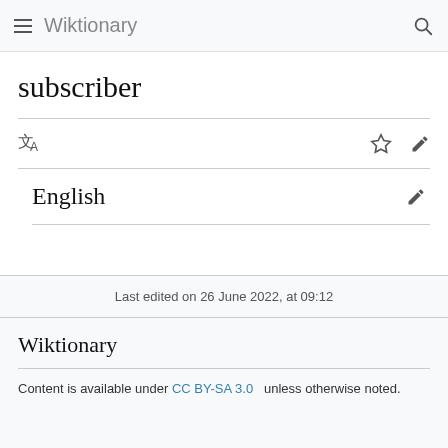Wiktionary
subscriber
English
Last edited on 26 June 2022, at 09:12
Wiktionary
Content is available under CC BY-SA 3.0 unless otherwise noted.